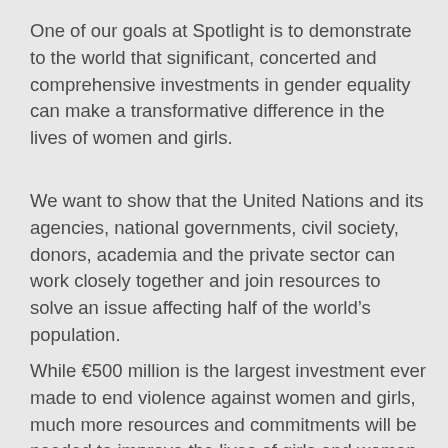One of our goals at Spotlight is to demonstrate to the world that significant, concerted and comprehensive investments in gender equality can make a transformative difference in the lives of women and girls.
We want to show that the United Nations and its agencies, national governments, civil society, donors, academia and the private sector can work closely together and join resources to solve an issue affecting half of the world's population.
While €500 million is the largest investment ever made to end violence against women and girls, much more resources and commitments will be needed to improve the lives of girls and women